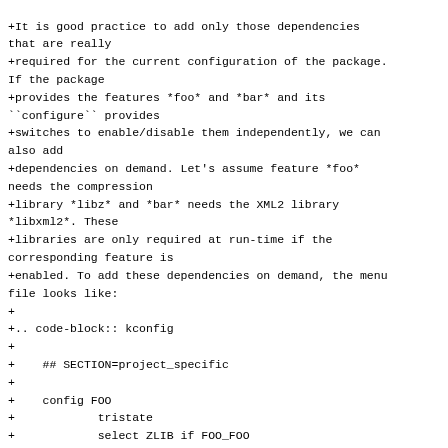+It is good practice to add only those dependencies that are really
+required for the current configuration of the package. If the package
+provides the features *foo* and *bar* and its ``configure`` provides
+switches to enable/disable them independently, we can also add
+dependencies on demand. Let's assume feature *foo* needs the compression
+library *libz* and *bar* needs the XML2 library *libxml2*. These
+libraries are only required at run-time if the corresponding feature is
+enabled. To add these dependencies on demand, the menu file looks like:
+
+.. code-block:: kconfig
+
+    ## SECTION=project_specific
+
+    config FOO
+            tristate
+            select ZLIB if FOO_FOO
+            select LIBXML2 if FOO_BAR
+            prompt "foo"
+            help
+              FIXME
+
+    if FOO